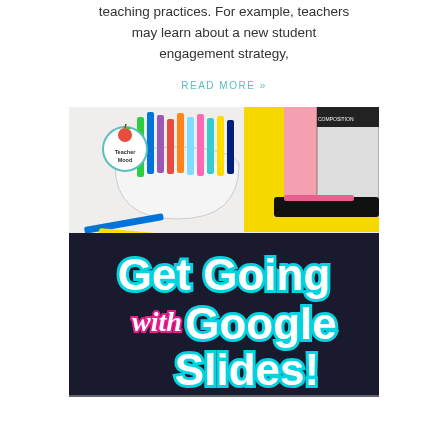teaching practices. For example, teachers may learn about a new student engagement strategy,
READ MORE »
[Figure (photo): Promotional image for 'Get Going with Google Slides!' showing colorful markers in a cup and school notebooks, with Teacher Mood logo, bold text overlay reading 'Get Going with Google Slides!']